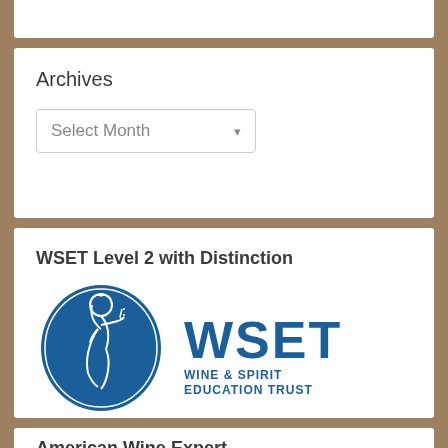Archives
Select Month
WSET Level 2 with Distinction
[Figure (logo): WSET Wine & Spirit Education Trust logo — blue oval with woman holding wine glass on left, bold blue WSET text and 'WINE & SPIRIT EDUCATION TRUST' on right]
American Wine Expert